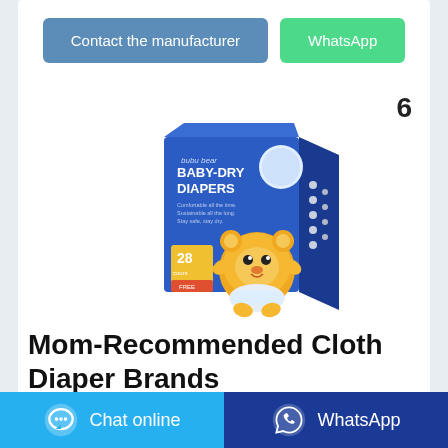[Figure (screenshot): Two buttons: 'Contact the manufacturer' (steel blue) and 'WhatsApp' (green)]
6
[Figure (photo): Bubu Bear Baby-Dry Diapers product box — blue packaging with a cartoon bear character, '28 count' label]
Mom-Recommended Cloth Diaper Brands
Feb 06, 2015·Amihan's baby is currently 2.1 years old.
[Figure (screenshot): Bottom bar with 'Chat online' (light blue) and 'WhatsApp' (dark blue) buttons]